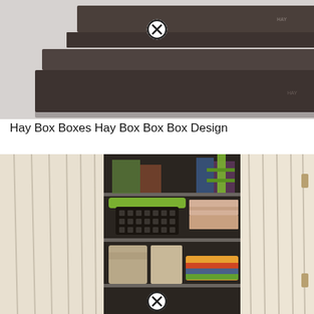[Figure (photo): Dark brown storage boxes stacked on a light gray background, with a close/remove button (circled X) overlay in the upper center area. The boxes appear to be designer HAY brand boxes.]
Hay Box Boxes Hay Box Box Box Design
[Figure (photo): Interior view of an open wardrobe/closet with cream linen curtains pulled aside, revealing shelves containing a green and black pet carrier, folded towels and textiles in pink, red, and cream colors, and assorted items on the top shelf. A close/remove button (circled X) overlay appears at the bottom center.]